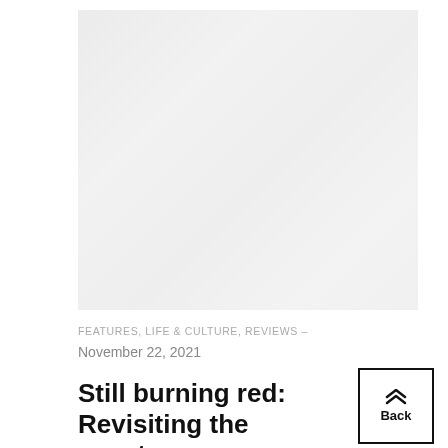[Figure (photo): Faded/washed out photograph, very light, appears to show figures or a scene with low contrast against a light background]
FEATURES, LIFE & CULTURE, REVIEWS –
November 22, 2021
Still burning red: Revisiting the spectrum